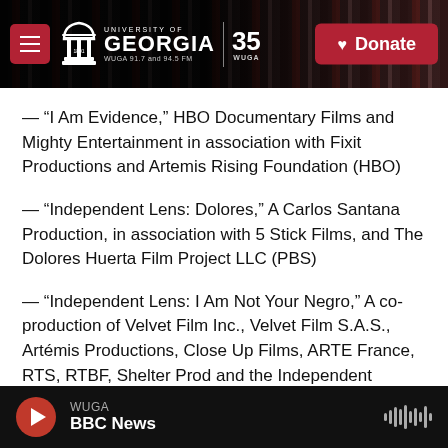[Figure (screenshot): University of Georgia WUGA 91.7 and 94.5 FM radio station website header with logo, 35th anniversary badge, and red Donate button]
— “I Am Evidence,” HBO Documentary Films and Mighty Entertainment in association with Fixit Productions and Artemis Rising Foundation (HBO)
— “Independent Lens: Dolores,” A Carlos Santana Production, in association with 5 Stick Films, and The Dolores Huerta Film Project LLC (PBS)
— “Independent Lens: I Am Not Your Negro,” A co-production of Velvet Film Inc., Velvet Film S.A.S., Artémis Productions, Close Up Films, ARTE France, RTS, RTBF, Shelter Prod and the Independent
[Figure (screenshot): Audio player footer showing WUGA station name, BBC News program, red circular play button, and waveform icon on dark background]